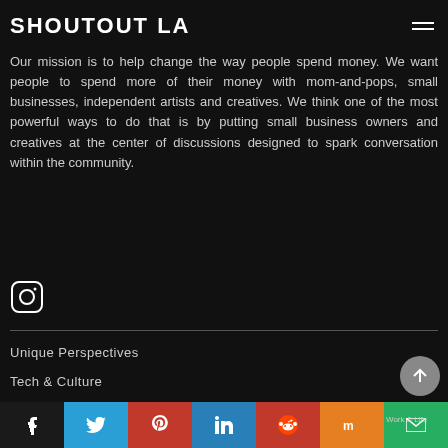SHOUTOUT LA
Our mission is to help change the way people spend money. We want people to spend more of their money with mom-and-pops, small businesses, independent artists and creatives. We think one of the most powerful ways to do that is by putting small business owners and creatives at the center of discussions designed to spark conversation within the community.
[Figure (logo): Instagram icon - rounded square with circle inside]
Unique Perspectives
Tech & Culture
Lifestyle
Work & Life